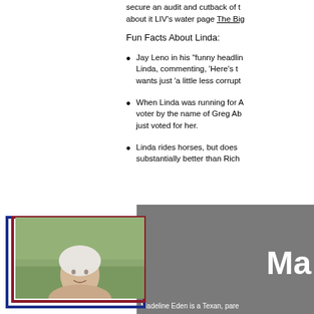secure an audit and cutback of [truncated]... about it LIV's water page The Big[truncated]
Fun Facts About Linda:
Jay Leno in his 'funny headlin[truncated] Linda, commenting, 'Here's t[truncated] wants just 'a little less corrupt[truncated]
When Linda was running for A[truncated] voter by the name of Greg Ab[truncated] just voted for her.
Linda rides horses, but does [truncated] substantially better than Rich[truncated]
[Figure (photo): Photo of Madeline Eden with blue and red double border frame]
Ma[truncated]
Madeline Eden is a Texan, pare[truncated]